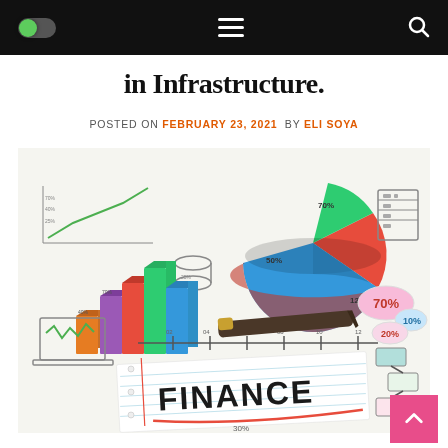Navigation bar with toggle, hamburger menu, and search icon
in Infrastructure.
POSTED ON FEBRUARY 23, 2021  BY ELI SOYA
[Figure (illustration): Finance illustration showing 3D bar chart, pie chart, a pen, notebook paper with 'FINANCE' written on it, percentage bubbles showing 70%, 20%, 10%, 30%, and various financial diagram sketches on white background]